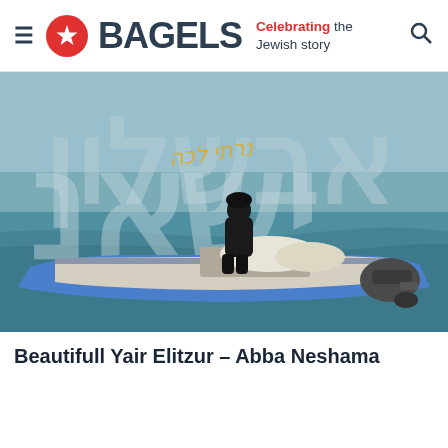BAGELS — Celebrating the Jewish story
[Figure (photo): A person dressed in black sits on a blue and white boat on the water. Hebrew text and cursive English text appear in the background of the image, styled as an album/music cover.]
Beautifull Yair Elitzur – Abba Neshama